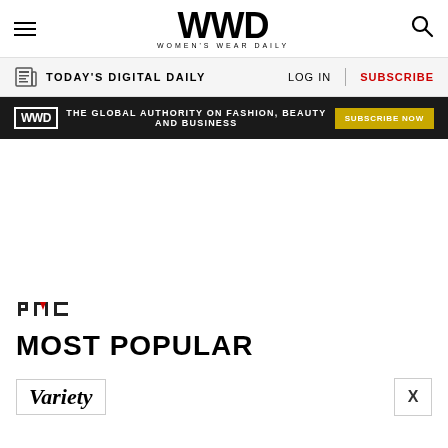WWD WOMEN'S WEAR DAILY
TODAY'S DIGITAL DAILY | LOG IN | SUBSCRIBE
[Figure (infographic): WWD dark banner ad: 'THE GLOBAL AUTHORITY ON FASHION, BEAUTY AND BUSINESS' with SUBSCRIBE NOW button]
[Figure (logo): PMC logo]
MOST POPULAR
[Figure (logo): Variety logo in italic serif font]